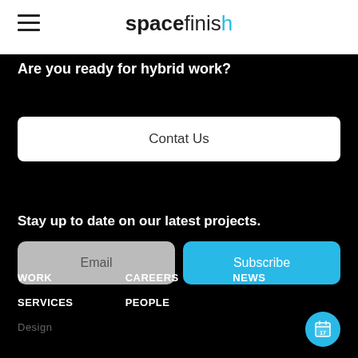spacefinish
Are you ready for hybrid work?
Contat Us
Stay up to date on our latest projects.
Email
Subscribe
WORK
CAREERS
NEWS
SERVICES
PEOPLE
Design
[Figure (other): Cyan calendar FAB button with number 17]